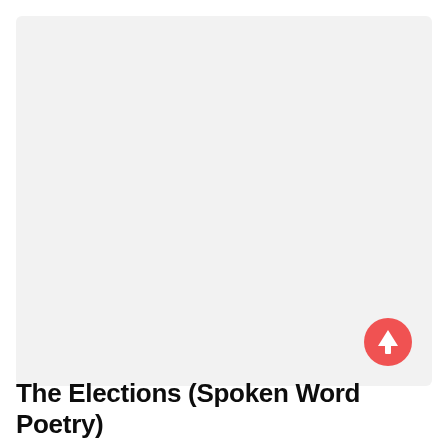[Figure (other): Large light grey placeholder image area with a red circular scroll-to-top button with white upward arrow in the bottom-right corner]
The Elections (Spoken Word Poetry)